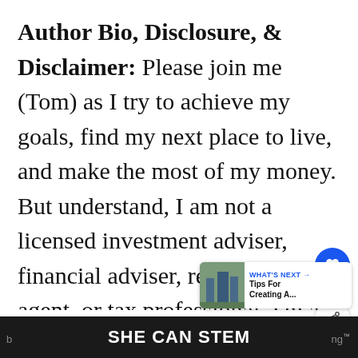Author Bio, Disclosure, & Disclaimer: Please join me (Tom) as I try to achieve my goals, find my next place to live, and make the most of my money. But understand, I am not a licensed investment adviser, financial adviser, real estate agent, or tax professional. I'm a 50-something-year-old guy, CPA, retired finance professional, and part-time business school teacher with 40+ years investing experience. I'm just here
[Figure (other): Social UI overlay with heart/like button (blue circle, count of 4) and share button, plus a 'WHAT'S NEXT' card showing 'Tips For Creating A...' with a building thumbnail]
SHE CAN STEM